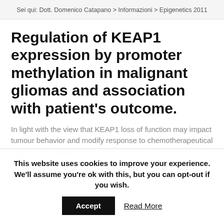Sei qui: Dott. Domenico Catapano > Informazioni > Epigenetics 2011
Regulation of KEAP1 expression by promoter methylation in malignant gliomas and association with patient's outcome.
In light with the view that KEAP1 loss of function may impact tumour behavior and modify response to chemotherapeutical agents, we sought to determine whether KEAP1 gene is epigenetically regulated in malignant gliomas. We developed a Quantitative Methylation Specific PCR (QMSP) assay to
This website uses cookies to improve your experience. We'll assume you're ok with this, but you can opt-out if you wish.
Accept
Read More